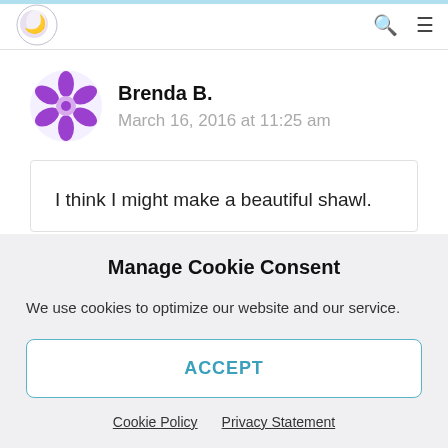Site header with logo, search icon, and menu icon
Brenda B.
March 16, 2016 at 11:25 am
I think I might make a beautiful shawl.
Manage Cookie Consent
We use cookies to optimize our website and our service.
ACCEPT
Cookie Policy  Privacy Statement